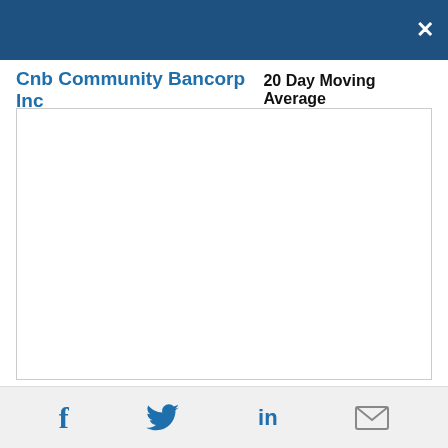×
Cnb Community Bancorp Inc
20 Day Moving Average
[Figure (continuous-plot): Empty chart area for 20 Day Moving Average of Cnb Community Bancorp Inc stock price. The chart area is blank/white with a light border.]
Social sharing icons: Facebook, Twitter, LinkedIn, Email